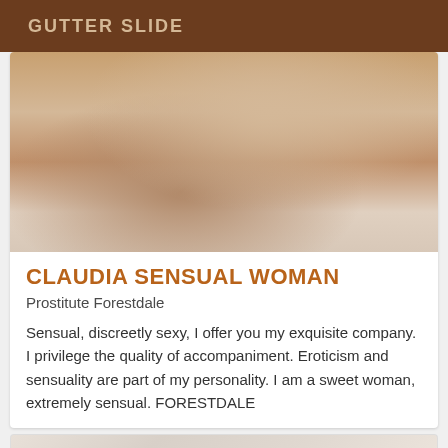GUTTER SLIDE
[Figure (photo): Close-up photo of a woman's legs wearing high-heeled sandals, seated in a light-colored chair]
CLAUDIA SENSUAL WOMAN
Prostitute Forestdale
Sensual, discreetly sexy, I offer you my exquisite company. I privilege the quality of accompaniment. Eroticism and sensuality are part of my personality. I am a sweet woman, extremely sensual. FORESTDALE
[Figure (photo): Partial photo visible at bottom of page, light beige/pink tones]